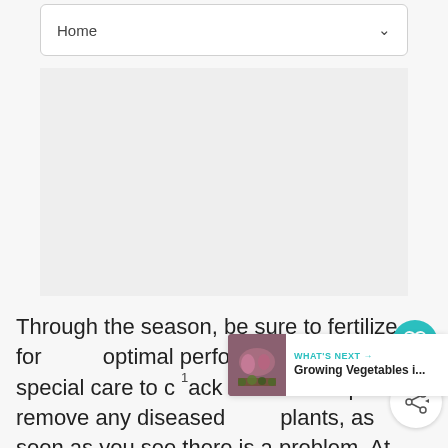Home
[Figure (other): Advertisement block, gray placeholder rectangle]
Through the season, be sure to fertilize for optimal performance. Take special care to cut back or completely remove any diseased plants, as soon as you see there is a problem. At the end of the season, be sure to dig up plants and their root balls. Rake the bed well to prepare it for the next season's planting.